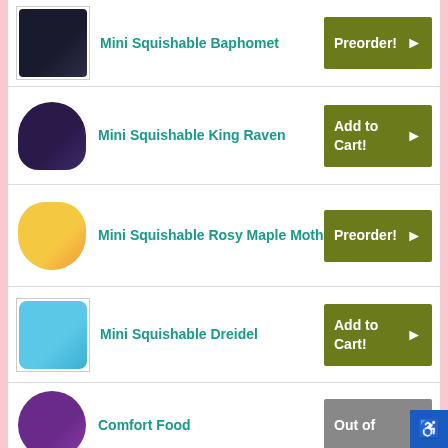Mini Squishable Baphomet — Preorder!
Mini Squishable King Raven — Add to Cart!
Mini Squishable Rosy Maple Moth — Preorder!
Mini Squishable Dreidel — Add to Cart!
Comfort Food — Out of